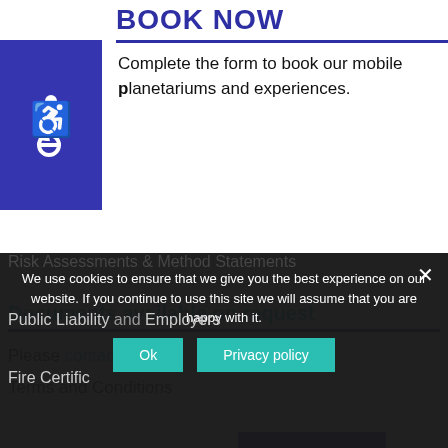Book Now
Complete the form to book our mobile planetariums and experiences.
Booking Form
Documents available on request
Please contact us for
Terms and Conditions
Risk Assessments & Method Statements
Public Liability and Employers
Fire Certificate
We use cookies to ensure that we give you the best experience on our website. If you continue to use this site we will assume that you are happy with it.